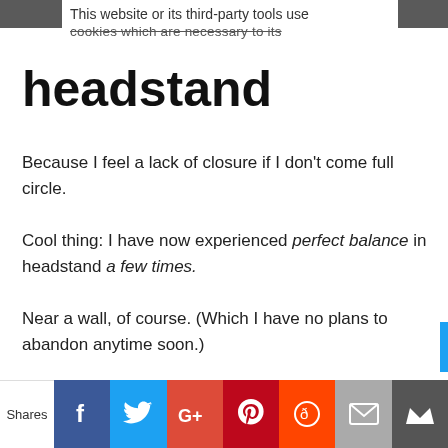This website or its third-party tools use cookies which are necessary to its
headstand
Because I feel a lack of closure if I don't come full circle.
Cool thing: I have now experienced perfect balance in headstand a few times.
Near a wall, of course. (Which I have no plans to abandon anytime soon.)
You may be the Torpedoes-Be-Damned,
Shares | Facebook | Twitter | Google+ | Pinterest | Reddit | Email | Crown